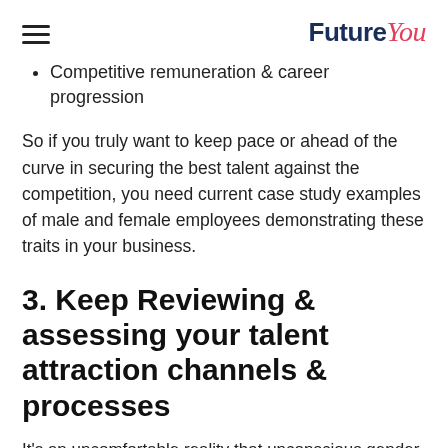FutureYou
Competitive remuneration & career progression
So if you truly want to keep pace or ahead of the curve in securing the best talent against the competition, you need current case study examples of male and female employees demonstrating these traits in your business.
3. Keep Reviewing & assessing your talent attraction channels & processes
It's an uncomfortable reality that unconscious gender bias exists.